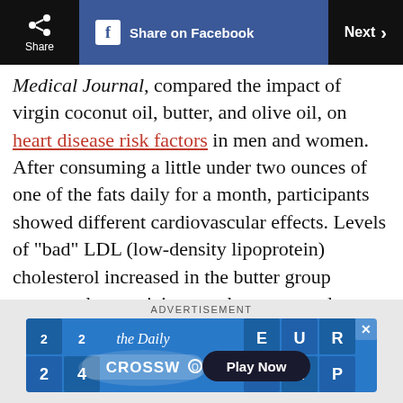Share | Share on Facebook | Next >
Medical Journal, compared the impact of virgin coconut oil, butter, and olive oil, on heart disease risk factors in men and women. After consuming a little under two ounces of one of the fats daily for a month, participants showed different cardiovascular effects. Levels of "bad" LDL (low-density lipoprotein) cholesterol increased in the butter group compared to participants who consumed coconut and olive oils. Virgin coconut oil also increased "good" HDL (high-density
[Figure (screenshot): Advertisement banner for The Daily Crossword game with blue background, showing crossword tiles and a 'Play Now' button]